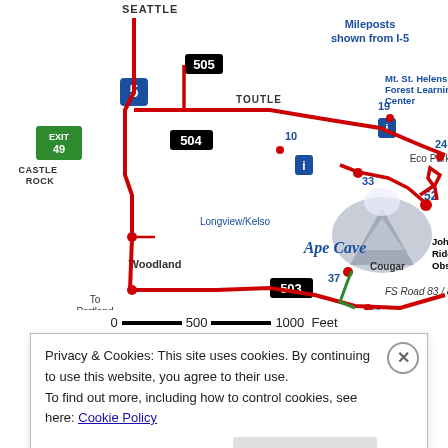[Figure (map): Road map showing routes to Mt. St. Helens area in Washington state. Features I-5 highway with mileposts, roads 504, 503, 505, locations including Seattle, Castle Rock (Exit 49), Toutle, Longview/Kelso, Woodland, Eco Park, Cougar, Ape Cave (milepost 37), Mt. St. Helens Forest Learning Center, Johnston Ridge Observatory (milepost 52), with red roads, green FS Road 83/8303, and an image of Mt. St. Helens erupting.]
0   500   1000   Feet
Privacy & Cookies: This site uses cookies. By continuing to use this website, you agree to their use.
To find out more, including how to control cookies, see here: Cookie Policy